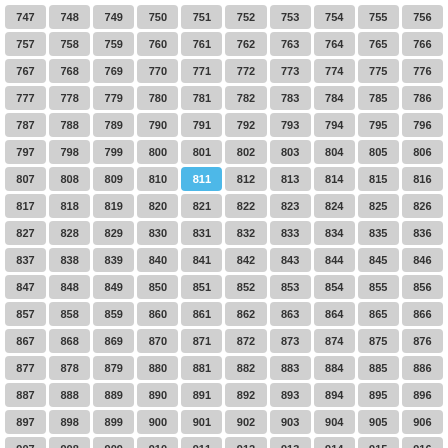| 747 | 748 | 749 | 750 | 751 | 752 | 753 | 754 | 755 | 756 |
| 757 | 758 | 759 | 760 | 761 | 762 | 763 | 764 | 765 | 766 |
| 767 | 768 | 769 | 770 | 771 | 772 | 773 | 774 | 775 | 776 |
| 777 | 778 | 779 | 780 | 781 | 782 | 783 | 784 | 785 | 786 |
| 787 | 788 | 789 | 790 | 791 | 792 | 793 | 794 | 795 | 796 |
| 797 | 798 | 799 | 800 | 801 | 802 | 803 | 804 | 805 | 806 |
| 807 | 808 | 809 | 810 | 811 | 812 | 813 | 814 | 815 | 816 |
| 817 | 818 | 819 | 820 | 821 | 822 | 823 | 824 | 825 | 826 |
| 827 | 828 | 829 | 830 | 831 | 832 | 833 | 834 | 835 | 836 |
| 837 | 838 | 839 | 840 | 841 | 842 | 843 | 844 | 845 | 846 |
| 847 | 848 | 849 | 850 | 851 | 852 | 853 | 854 | 855 | 856 |
| 857 | 858 | 859 | 860 | 861 | 862 | 863 | 864 | 865 | 866 |
| 867 | 868 | 869 | 870 | 871 | 872 | 873 | 874 | 875 | 876 |
| 877 | 878 | 879 | 880 | 881 | 882 | 883 | 884 | 885 | 886 |
| 887 | 888 | 889 | 890 | 891 | 892 | 893 | 894 | 895 | 896 |
| 897 | 898 | 899 | 900 | 901 | 902 | 903 | 904 | 905 | 906 |
| 907 | 908 | 909 | 910 | 911 | 912 | 913 | 914 | 915 | 916 |
| 917 | 918 | 919 | 920 | 921 | 922 | 923 | 924 | 925 | 926 |
| 927 | 928 | 929 | 930 | 931 | 932 | 933 | 934 | 935 | 936 |